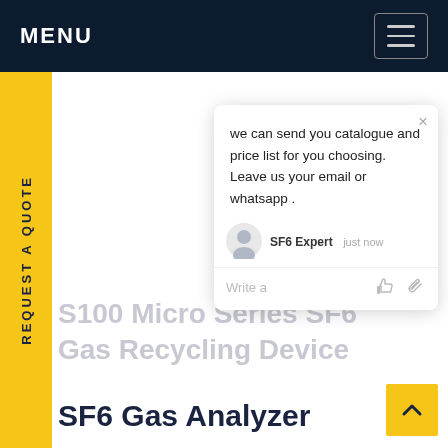MENU
REQUEST A QUOTE
[Figure (screenshot): Chat popup widget showing message: 'we can send you catalogue and price list for you choosing. Leave us your email or whatsapp .' From SF6 Expert, just now. With Write a message input area and like/attachment icons.]
S100 Micro Series SF6 Gas Recycling Device
SF6 Gas Analyzer